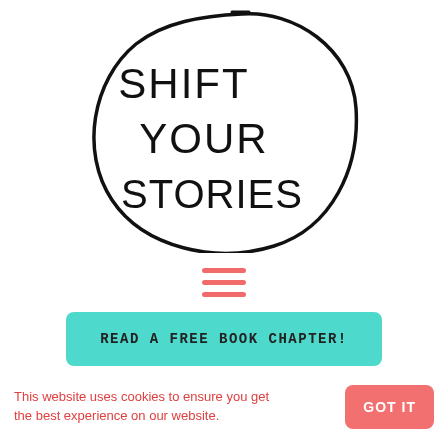[Figure (logo): Shift Your Stories logo — hand-drawn oval outline with text SHIFT YOUR STORIES inside, in a casual sans-serif font]
[Figure (infographic): Hamburger menu icon — three horizontal coral/salmon colored lines stacked vertically]
READ A FREE BOOK CHAPTER!
This website uses cookies to ensure you get the best experience on our website.
GOT IT